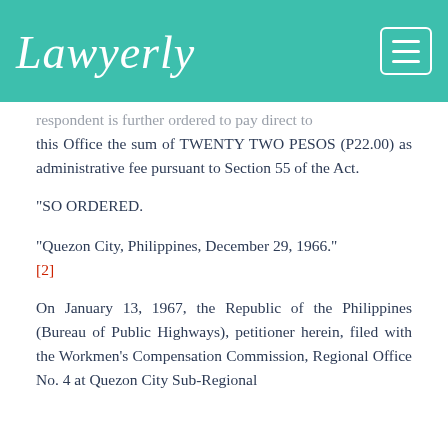Lawyerly
respondent is further ordered to pay direct to this Office the sum of TWENTY TWO PESOS (P22.00) as administrative fee pursuant to Section 55 of the Act.
"SO ORDERED.
"Quezon City, Philippines, December 29, 1966." [2]
On January 13, 1967, the Republic of the Philippines (Bureau of Public Highways), petitioner herein, filed with the Workmen's Compensation Commission, Regional Office No. 4 at Quezon City Sub-Regional